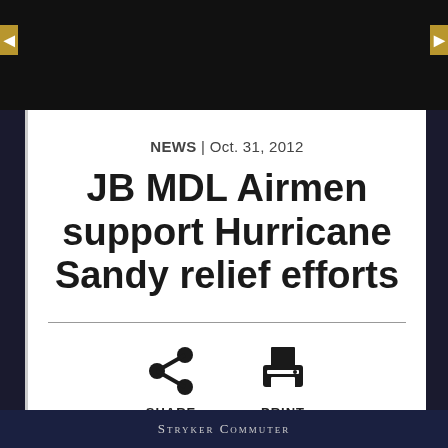[Figure (photo): Dark image banner at the top of the news article page]
NEWS | Oct. 31, 2012
JB MDL Airmen support Hurricane Sandy relief efforts
[Figure (infographic): Share and Print action icons with labels SHARE and PRINT]
Stryker Commuter